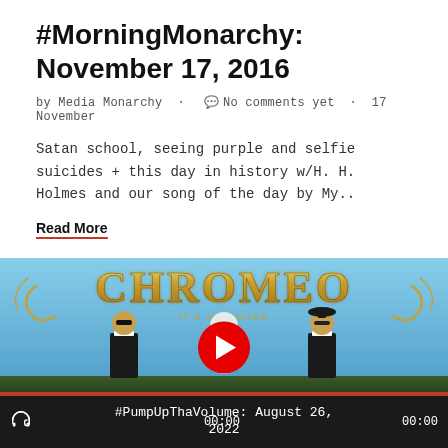#MorningMonarchy: November 17, 2016
by Media Monarchy · No comments yet · 17 November
Satan school, seeing purple and selfie suicides + this day in history w/H. H. Holmes and our song of the day by My..
Read More
[Figure (screenshot): Chromeo music video thumbnail showing two men in suits with gold Chromeo logo text, with a YouTube-style play button overlay and audio player bar at bottom showing #PumpUpThaVolume: August 26, 2022, 00:00 timestamps]